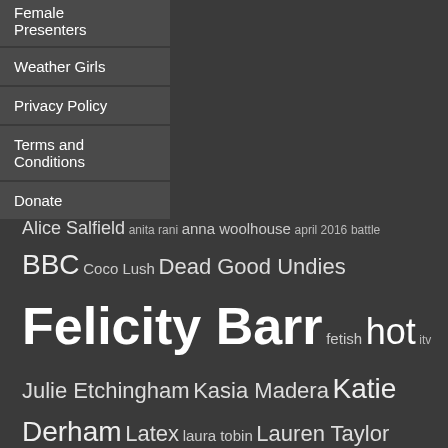Female Presenters
Weather Girls
Privacy Policy
Terms and Conditions
Donate
[Figure (infographic): Tag cloud with terms: Alice Salfield, anita rani, anna woolhouse, april 2016, battle, BBC, Coco Lush, Dead Good Undies, Felicity Barr, fetish, hot, itv, Julie Etchingham, Kasia Madera, Katie Derham, Latex, laura tobin, Lauren Taylor, lingerie, Lucrezia Milirani, Lucrezia Millarini, lucy verasamy, Mary Nightingale, mary nightinglae, may 2016, naga munchetty, news, presenter, presenters, rachel riley, radio, reporter, sexiest, sexiest presenter, sexiest presenter 2016, sexiest presenters, sexy, sky, stacey soloman, Susanna Reid, tv, uk, victoria fritz, vote, weather girls]